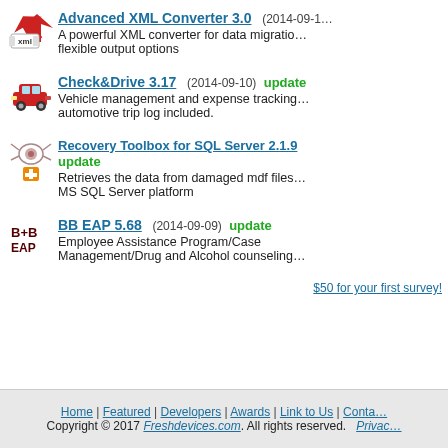Advanced XML Converter 3.0  (2014-09-1…)  A powerful XML converter for data migration… flexible output options
Check&Drive 3.17  (2014-09-10)  update  Vehicle management and expense tracking… automotive trip log included.
Recovery Toolbox for SQL Server 2.1.9  update  Retrieves the data from damaged mdf files… MS SQL Server platform
BB EAP 5.68  (2014-09-09)  update  Employee Assistance Program/Case Management/Drug and Alcohol counseling…
[Figure (other): $50 for your first survey! banner/ad link]
Home | Featured | Developers | Awards | Link to Us | Contact… Copyright © 2017 Freshdevices.com. All rights reserved.  Privacy…